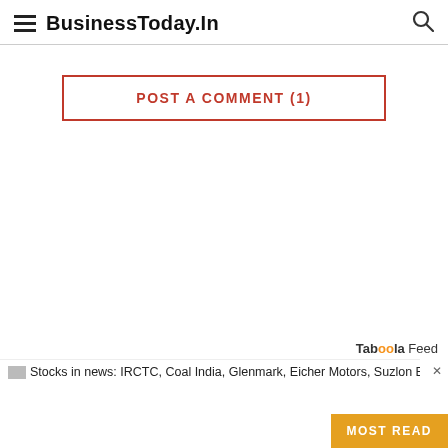BusinessToday.In
POST A COMMENT (1)
Taboola Feed
Stocks in news: IRCTC, Coal India, Glenmark, Eicher Motors, Suzlon Energy and more
MOST READ